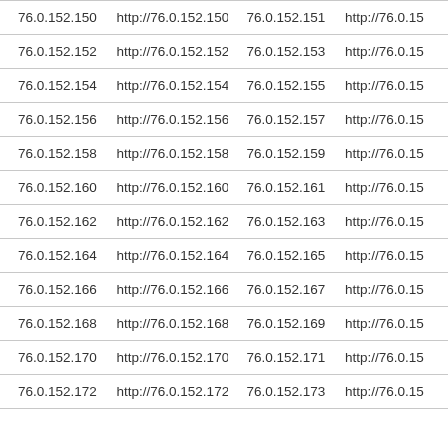| 76.0.152.150 | http://76.0.152.150 | 76.0.152.151 | http://76.0.15... |
| 76.0.152.152 | http://76.0.152.152 | 76.0.152.153 | http://76.0.15... |
| 76.0.152.154 | http://76.0.152.154 | 76.0.152.155 | http://76.0.15... |
| 76.0.152.156 | http://76.0.152.156 | 76.0.152.157 | http://76.0.15... |
| 76.0.152.158 | http://76.0.152.158 | 76.0.152.159 | http://76.0.15... |
| 76.0.152.160 | http://76.0.152.160 | 76.0.152.161 | http://76.0.15... |
| 76.0.152.162 | http://76.0.152.162 | 76.0.152.163 | http://76.0.15... |
| 76.0.152.164 | http://76.0.152.164 | 76.0.152.165 | http://76.0.15... |
| 76.0.152.166 | http://76.0.152.166 | 76.0.152.167 | http://76.0.15... |
| 76.0.152.168 | http://76.0.152.168 | 76.0.152.169 | http://76.0.15... |
| 76.0.152.170 | http://76.0.152.170 | 76.0.152.171 | http://76.0.15... |
| 76.0.152.172 | http://76.0.152.172 | 76.0.152.173 | http://76.0.15... |